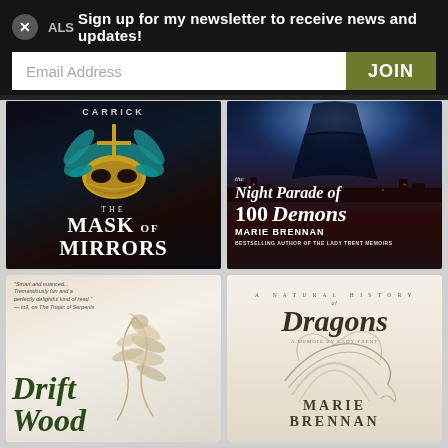Sign up for my newsletter to receive news and updates!
Email Address
JOIN
[Figure (illustration): Book cover: The Mask of Mirrors by Carrick. Dark fantasy cover featuring an ornate teal and gold winged masquerade mask with a sword, over a dark background. Title reads THE MASK OF MIRRORS.]
[Figure (illustration): Book cover: The Night Parade of 100 Demons by Marie Brennan. Dark blue fantasy cover with glowing icy figure at top and dark cityscape below. White italic title text.]
[Figure (illustration): Book cover: Driftwood. Light cream background with illustrated feathery dragon and vines. Large italic dark green title DRIFTWOOD. Italicized review quote at top.]
[Figure (illustration): Book cover: A Natural History of Dragons, A Memoir by Lady Trent by Marie Brennan. Cream/beige background with ornate dragon illustration. Elegant serif typography.]